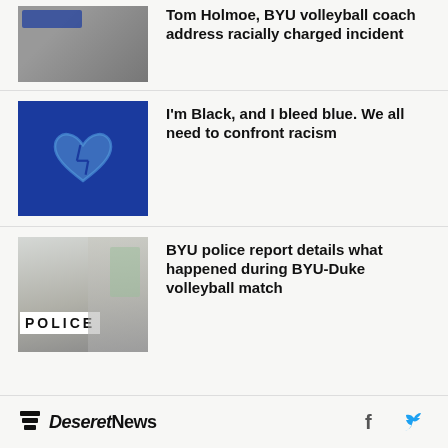[Figure (photo): Man in white shirt at BYU event, partial image cropped at top]
Tom Holmoe, BYU volleyball coach address racially charged incident
[Figure (photo): Blue background with broken heart illustration]
I'm Black, and I bleed blue. We all need to confront racism
[Figure (photo): Police car with POLICE text on side, outdoor scene]
BYU police report details what happened during BYU-Duke volleyball match
Deseret News — social icons: Facebook, Twitter